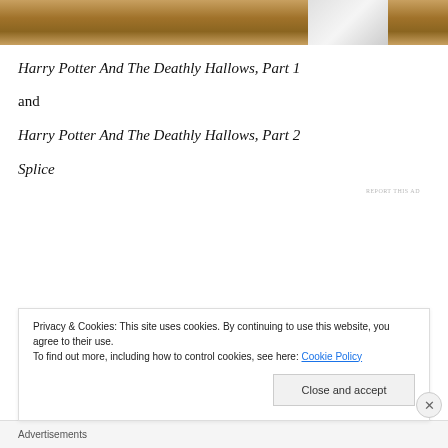[Figure (photo): Partial photo showing a wooden surface/desk edge with what appears to be a white object in the upper right corner]
Harry Potter And The Deathly Hallows, Part 1
and
Harry Potter And The Deathly Hallows, Part 2
Splice
REPORT THIS AD
Privacy & Cookies: This site uses cookies. By continuing to use this website, you agree to their use.
To find out more, including how to control cookies, see here: Cookie Policy
Close and accept
Advertisements